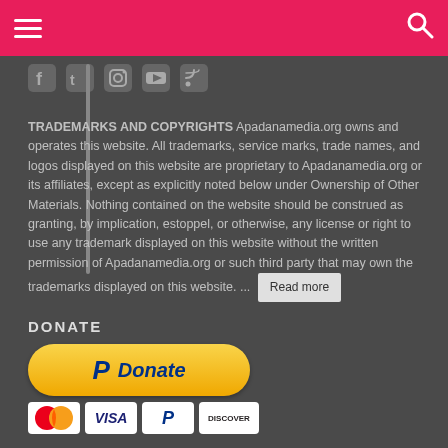Navigation bar with hamburger menu and search icon
[Figure (other): Social media icons: Facebook, Twitter, Instagram, YouTube, RSS feed]
TRADEMARKS AND COPYRIGHTS Apadanamedia.org owns and operates this website. All trademarks, service marks, trade names, and logos displayed on this website are proprietary to Apadanamedia.org or its affiliates, except as explicitly noted below under Ownership of Other Materials. Nothing contained on the website should be construed as granting, by implication, estoppel, or otherwise, any license or right to use any trademark displayed on this website without the written permission of Apadanamedia.org or such third party that may own the trademarks displayed on this website. ... Read more
DONATE
[Figure (other): PayPal Donate button (yellow rounded rectangle with PayPal P logo and Donate text in blue italic) with payment card icons below: MasterCard, VISA, PayPal, Discover]